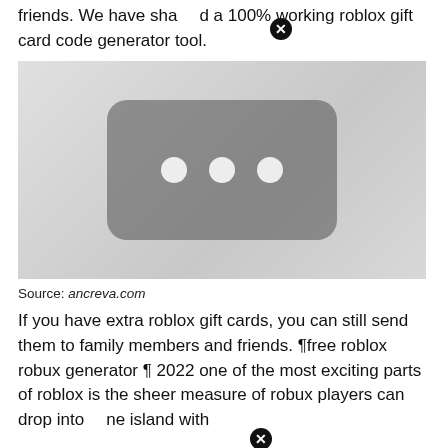friends. We have shared a 100% working roblox gift card code generator tool.
[Figure (photo): A placeholder image showing a dark rounded rectangle with three white dots on a light gray gradient background, resembling a loading or media placeholder.]
Source: ancreva.com
If you have extra roblox gift cards, you can still send them to family members and friends. ¶free roblox robux generator ¶ 2022 one of the most exciting parts of roblox is the sheer measure of robux players can drop into the island with